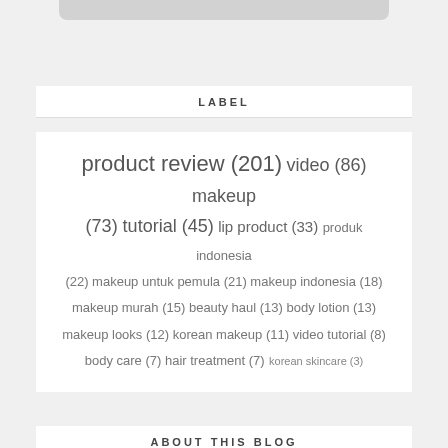[Figure (photo): Partial top of a cropped image, gray/silver banner strip visible at top edge]
LABEL
product review (201) video (86) makeup (73) tutorial (45) lip product (33) produk indonesia (22) makeup untuk pemula (21) makeup indonesia (18) makeup murah (15) beauty haul (13) body lotion (13) makeup looks (12) korean makeup (11) video tutorial (8) body care (7) hair treatment (7) korean skincare (3)
ABOUT THIS BLOG
Hello… I am Jean Milka and this blog is my personal diary where I share everything about beauty, including makeup, skincare, fashion and a little bit of lifestyle. I wish this blog can help every girl to feel beautiful.